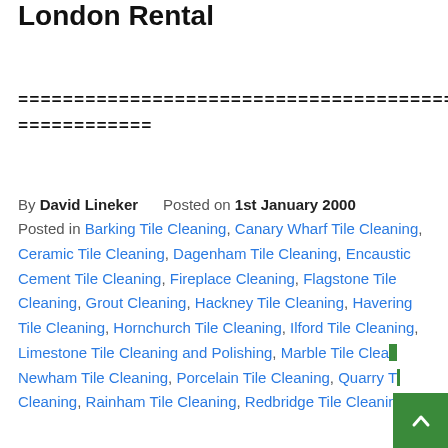London Rental
============================================================
============
By David Lineker      Posted on 1st January 2000
Posted in Barking Tile Cleaning, Canary Wharf Tile Cleaning, Ceramic Tile Cleaning, Dagenham Tile Cleaning, Encaustic Cement Tile Cleaning, Fireplace Cleaning, Flagstone Tile Cleaning, Grout Cleaning, Hackney Tile Cleaning, Havering Tile Cleaning, Hornchurch Tile Cleaning, Ilford Tile Cleaning, Limestone Tile Cleaning and Polishing, Marble Tile Cleaning, Newham Tile Cleaning, Porcelain Tile Cleaning, Quarry Tile Cleaning, Rainham Tile Cleaning, Redbridge Tile Cleaning,